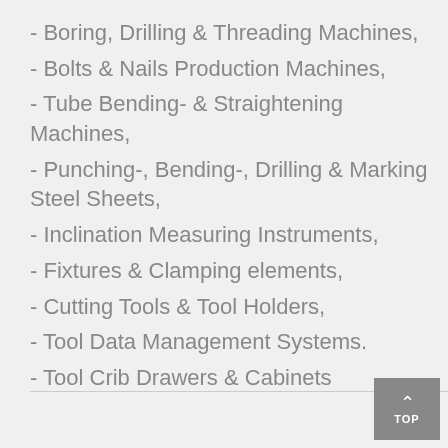- Boring, Drilling & Threading Machines,
- Bolts & Nails Production Machines,
- Tube Bending- & Straightening Machines,
- Punching-, Bending-, Drilling & Marking Steel Sheets,
- Inclination Measuring Instruments,
- Fixtures & Clamping elements,
- Cutting Tools & Tool Holders,
- Tool Data Management Systems.
- Tool Crib Drawers & Cabinets
TOP